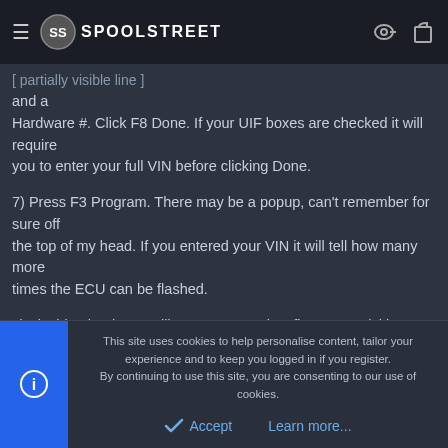SPOOLSTREET
and a
Hardware #. Click F8 Done. If your UIF boxes are checked it will require
you to enter your full VIN before clicking Done.
7) Press F3 Program. There may be a popup, can't remember for sure off
the top of my head. If you entered your VIN it will tell how many more
times the ECU can be flashed.
8) Flashing begins. It will go to 100% twice, first very quickly,
This site uses cookies to help personalise content, tailor your experience and to keep you logged in if you register.
By continuing to use this site, you are consenting to our use of cookies.